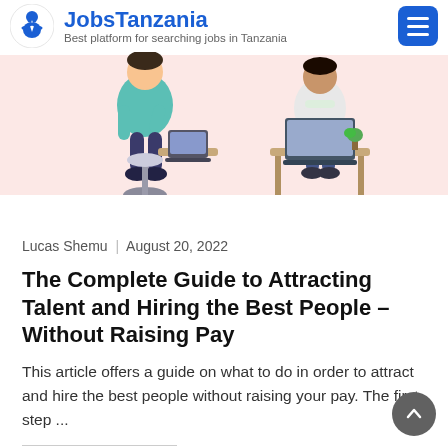[Figure (illustration): JobsTanzania website header with logo (figure of person with tie in circle), site name 'JobsTanzania' in blue bold text, subtitle 'Best platform for searching jobs in Tanzania' in gray, hamburger menu button in blue, and a hero illustration showing two people working at desks on a pink/salmon background]
Lucas Shemu  |  August 20, 2022
The Complete Guide to Attracting Talent and Hiring the Best People – Without Raising Pay
This article offers a guide on what to do in order to attract and hire the best people without raising your pay. The first step ...
Share this: